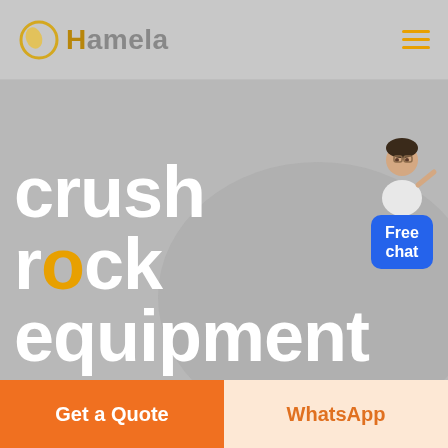Hamela
crush rock equipment
[Figure (illustration): Free chat widget with illustrated person standing at a podium and blue 'Free chat' button]
Get a Quote
WhatsApp